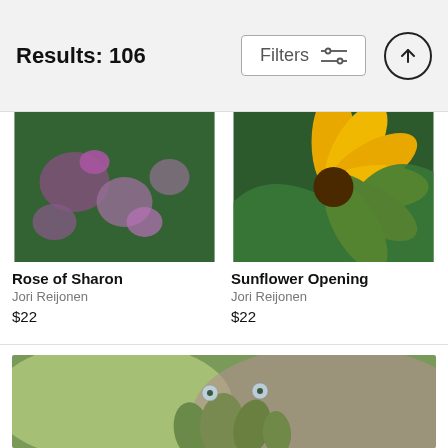Results: 106  Filters
[Figure (photo): Close-up photo of pink/purple flowers with green leaves (Rose of Sharon)]
Rose of Sharon
Jori Reijonen
$22
[Figure (photo): Close-up photo of yellow sunflower petals with green serrated leaf (Sunflower Opening)]
Sunflower Opening
Jori Reijonen
$22
[Figure (photo): Macro photo of green plant buds with water droplets containing tiny reflections, blurred green and pink background]